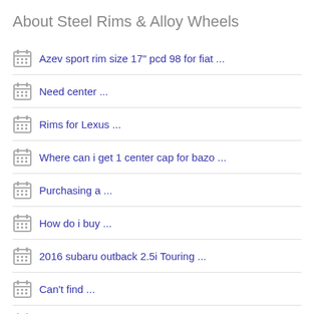About Steel Rims & Alloy Wheels
Azev sport rim size 17" pcd 98 for fiat ...
Need center ...
Rims for Lexus ...
Where can i get 1 center cap for bazo ...
Purchasing a ...
How do i buy ...
2016 subaru outback 2.5i Touring ...
Can't find ...
I want cup for Suzuki Grand Vitara 18" Chrome ...
Suzuki Grand Vitara 18" Chrome Alloy ...